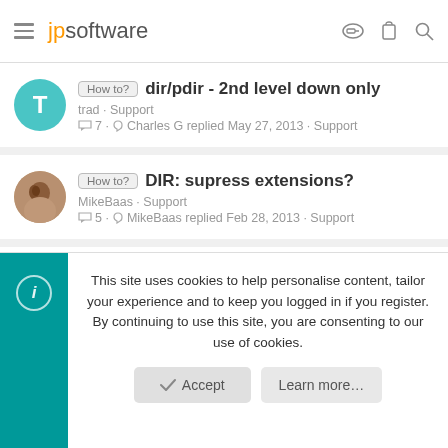jpsoftware
How to? dir/pdir - 2nd level down only | trad · Support | 7 · Charles G replied May 27, 2013 · Support
How to? DIR: supress extensions? | MikeBaas · Support | 5 · MikeBaas replied Feb 28, 2013 · Support
dir /s dies on my C: drive | old coot · Support | 2 · old coot replied Mar 1, 2013 · Support
This site uses cookies to help personalise content, tailor your experience and to keep you logged in if you register. By continuing to use this site, you are consenting to our use of cookies.